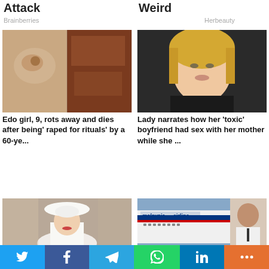Attack
Brainberries
Weird
Herbeauty
[Figure (photo): Close-up photo of skin condition and brown texture]
Edo girl, 9, rots away and dies after being' raped for rituals' by a 60-ye...
[Figure (photo): Selfie photo of a blonde woman in black clothing]
Lady narrates how her 'toxic' boyfriend had sex with her mother while she ...
[Figure (photo): Princess Anne wearing white outfit and white hat]
Why Princess Anne
[Figure (photo): Malaysia Airlines plane and a man in pilot uniform]
Update: Missing fligh